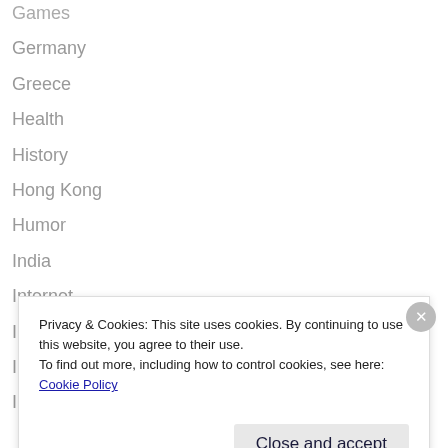Games
Germany
Greece
Health
History
Hong Kong
Humor
India
Internet
Iran
Iraq
Ireland
Privacy & Cookies: This site uses cookies. By continuing to use this website, you agree to their use.
To find out more, including how to control cookies, see here: Cookie Policy
Close and accept